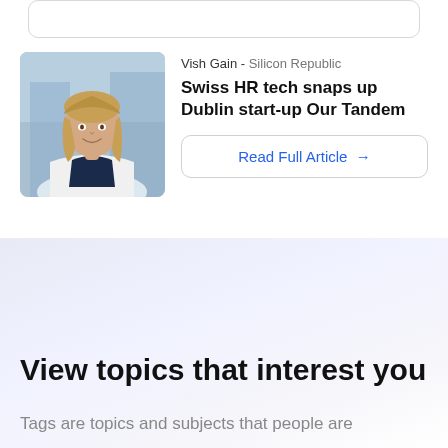[Figure (photo): Photo of a woman with blonde hair wearing a white jacket, standing in front of a blurred building background]
Vish Gain - Silicon Republic
Swiss HR tech snaps up Dublin start-up Our Tandem
Read Full Article →
View topics that interest you
Tags are topics and subjects that people are